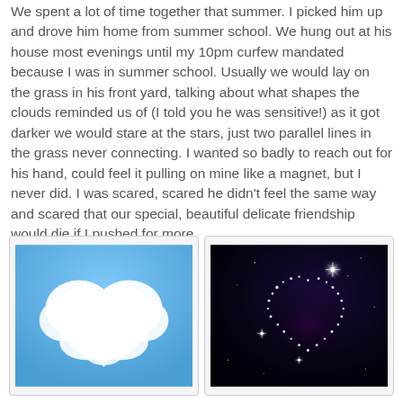We spent a lot of time together that summer. I picked him up and drove him home from summer school. We hung out at his house most evenings until my 10pm curfew mandated because I was in summer school. Usually we would lay on the grass in his front yard, talking about what shapes the clouds reminded us of (I told you he was sensitive!) as it got darker we would stare at the stars, just two parallel lines in the grass never connecting. I wanted so badly to reach out for his hand, could feel it pulling on mine like a magnet, but I never did. I was scared, scared he didn't feel the same way and scared that our special, beautiful delicate friendship would die if I pushed for more.
[Figure (photo): A heart-shaped white cloud against a blue sky]
[Figure (photo): A heart shape formed by stars and sparkles against a dark night sky]